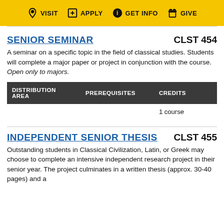VISIT  APPLY  GET INFO  GIVE
SENIOR SEMINAR  CLST 454
A seminar on a specific topic in the field of classical studies. Students will complete a major paper or project in conjunction with the course. Open only to majors.
| DISTRIBUTION AREA | PREREQUISITES | CREDITS |
| --- | --- | --- |
|  |  | 1 course |
INDEPENDENT SENIOR THESIS  CLST 455
Outstanding students in Classical Civilization, Latin, or Greek may choose to complete an intensive independent research project in their senior year. The project culminates in a written thesis (approx. 30-40 pages) and a